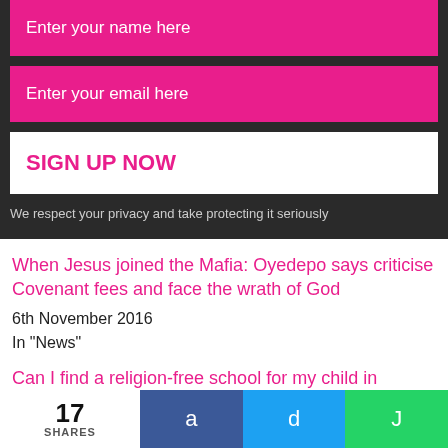Enter your name here
Enter your email here
SIGN UP NOW
We respect your privacy and take protecting it seriously
When Jesus joined the Mafia: Oyedepo says criticise Covenant fees and face the wrath of God
6th November 2016
In "News"
Can I find a religion-free school for my child in Nigeria? Temidayo Ahanmisi speaks
17 SHARES